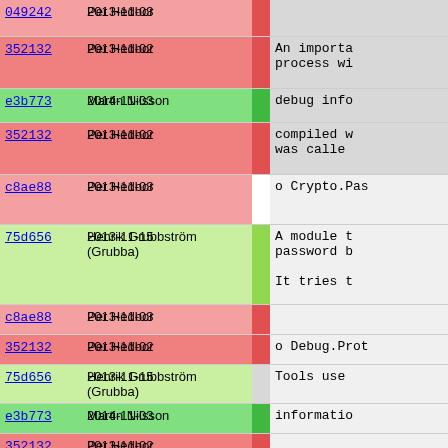| hash | date | author | bar | comment |
| --- | --- | --- | --- | --- |
| 049242 | 2013-11-03 | Per Hedbor |  |  |
| 352132 | 2013-11-02 | Per Hedbor |  | An importa... process wi... |
| e3b773 | 2014-11-03 | Martin Nilsson |  | debug info... |
| 352132 | 2013-11-02 | Per Hedbor |  | compiled w... was calle... |
| c8ae88 | 2013-11-03 | Per Hedbor |  | o Crypto.Pas... |
| 75d656 | 2013-11-15 | Henrik Grubbström (Grubba) |  | A module t... password b... It tries t... |
| c8ae88 | 2013-11-03 | Per Hedbor |  |  |
| 352132 | 2013-11-02 | Per Hedbor |  | o Debug.Prot... |
| 75d656 | 2013-11-15 | Henrik Grubbström (Grubba) |  | Tools use... |
| e3b773 | 2014-11-03 | Martin Nilsson |  | informatio... |
| 352132 | 2013-11-02 | Per Hedbor |  |  |
| a4f7d9 | 2013-11-02 | Per Hedbor |  | o NetUtils |
| 75d656 | 2013-11-15 | Henrik Grubbström (Grubba) |  | This mo... |